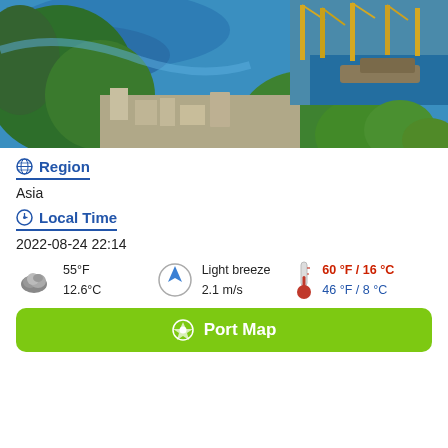[Figure (photo): Aerial view of a port city with river, cranes, docks, forested hills, and urban buildings]
Region
Asia
Local Time
2022-08-24 22:14
55°F 12.6°C | Light breeze 2.1 m/s | 60 °F / 16 °C  46 °F / 8 °C
Port Map